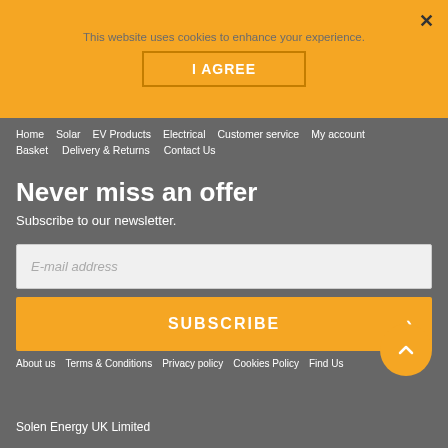This website uses cookies to enhance your experience.
I AGREE
Home  Solar  EV Products  Electrical  Customer service  My account  Basket  Delivery & Returns  Contact Us
Never miss an offer
Subscribe to our newsletter.
E-mail address
SUBSCRIBE
About us  Terms & Conditions  Privacy policy  Cookies Policy  Find Us
Solen Energy UK Limited